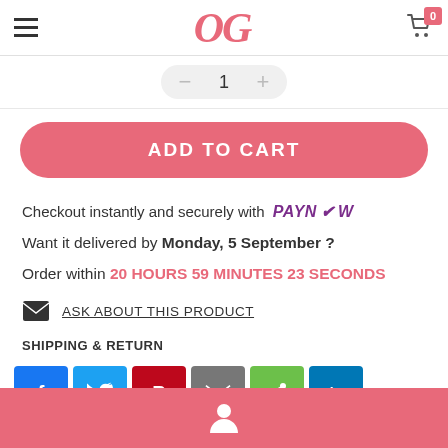[Figure (screenshot): OG e-commerce website header with hamburger menu, OG logo in pink italic, and cart icon with badge showing 0]
[Figure (screenshot): Quantity selector strip with minus button, number 1, and plus button in a rounded gray box]
ADD TO CART
Checkout instantly and securely with PAYNOW
Want it delivered by Monday, 5 September ?
Order within 20 HOURS 59 MINUTES 23 SECONDS
ASK ABOUT THIS PRODUCT
SHIPPING & RETURN
[Figure (screenshot): Social share buttons: Facebook, Twitter, Pinterest, Email, Share, LinkedIn]
[Figure (screenshot): Bottom navigation bar in salmon/coral color with user profile icon]